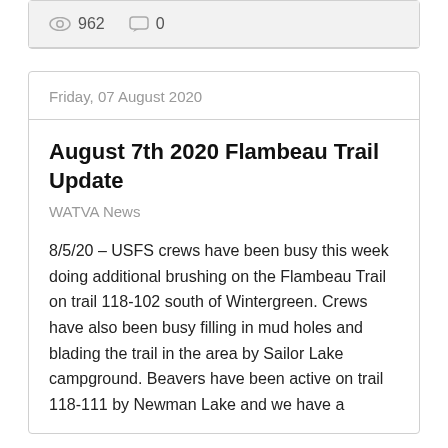962   0
Friday, 07 August 2020
August 7th 2020 Flambeau Trail Update
WATVA News
8/5/20 – USFS crews have been busy this week doing additional brushing on the Flambeau Trail on trail 118-102 south of Wintergreen. Crews have also been busy filling in mud holes and blading the trail in the area by Sailor Lake campground. Beavers have been active on trail 118-111 by Newman Lake and we have a